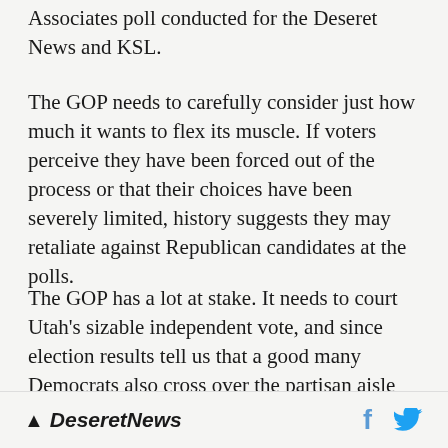Associates poll conducted for the Deseret News and KSL.
The GOP needs to carefully consider just how much it wants to flex its muscle. If voters perceive they have been forced out of the process or that their choices have been severely limited, history suggests they may retaliate against Republican candidates at the polls.
The GOP has a lot at stake. It needs to court Utah's sizable independent vote, and since election results tell us that a good many Democrats also cross over the partisan aisle on Election Day, it doesn't serve Republicans to
Deseret News  [facebook] [twitter]